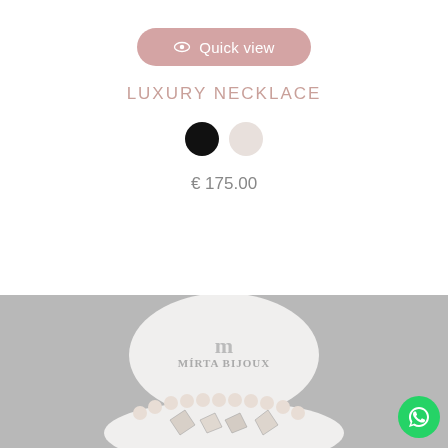Quick view
LUXURY NECKLACE
€ 175.00
[Figure (photo): Product photo of a luxury necklace displayed on a white mannequin bust with Mirta Bijoux logo visible. The necklace features cream/white beads and geometric metallic charms. Gray background.]